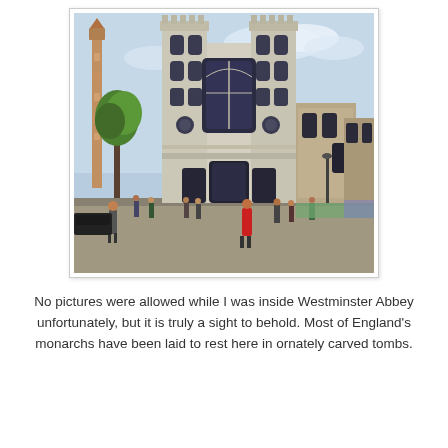[Figure (photo): Photograph of Westminster Abbey facade taken from street level. Two tall Gothic towers dominate the center, with ornate stonework, large stained-glass windows, and pointed arches. A decorative column/monument is visible to the left, and green trees are visible. Pedestrians and tourists are gathered in the foreground street area. A person in a red coat stands prominently in the right-center foreground.]
No pictures were allowed while I was inside Westminster Abbey unfortunately, but it is truly a sight to behold. Most of England's monarchs have been laid to rest here in ornately carved tombs.